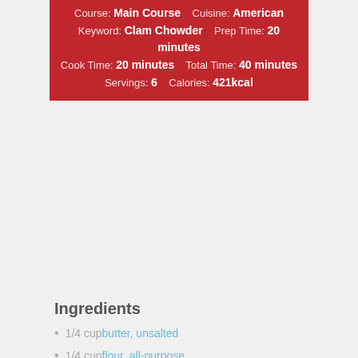Course: Main Course   Cuisine: American   Keyword: Clam Chowder   Prep Time: 20 minutes   Cook Time: 20 minutes   Total Time: 40 minutes   Servings: 6   Calories: 421kcal
Ingredients
1/4 cup butter, unsalted
1/4 cup flour, all-purpose
2 medium russet potato